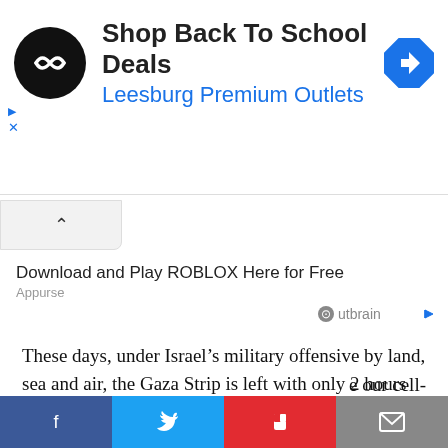[Figure (screenshot): Advertisement banner: black circular logo with infinity-like symbol, 'Shop Back To School Deals' in bold black text, 'Leesburg Premium Outlets' in blue text, blue diamond navigation icon on the right. Control icons (play triangle, X) on lower left.]
[Figure (screenshot): Collapse/chevron up button in a rounded box]
Download and Play ROBLOX Here for Free
Appurse
[Figure (logo): Outbrain logo with play icon]
These days, under Israel’s military offensive by land, sea and air, the Gaza Strip is left with only 2 hours of electricity at the max, writes Omer. Some areas have not had any electricity at all for the past 48 hours.
“There’s not much we can do in 2 hours. How do we do … our cell-
[Figure (screenshot): Social sharing bar with Facebook (blue), Twitter (light blue), Flipboard (red), and Email (grey) buttons]